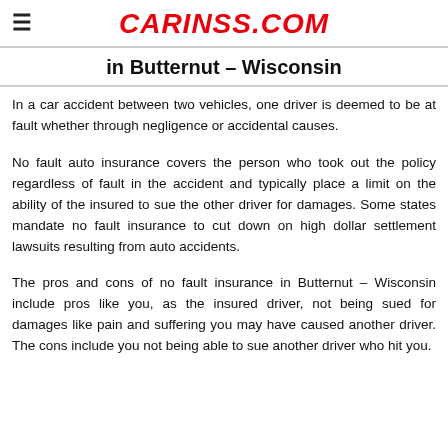CARINSS.COM
in Butternut – Wisconsin
In a car accident between two vehicles, one driver is deemed to be at fault whether through negligence or accidental causes.
No fault auto insurance covers the person who took out the policy regardless of fault in the accident and typically place a limit on the ability of the insured to sue the other driver for damages. Some states mandate no fault insurance to cut down on high dollar settlement lawsuits resulting from auto accidents.
The pros and cons of no fault insurance in Butternut – Wisconsin include pros like you, as the insured driver, not being sued for damages like pain and suffering you may have caused another driver. The cons include you not being able to sue another driver who hit you.